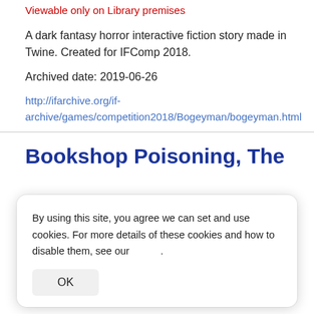Viewable only on Library premises
A dark fantasy horror interactive fiction story made in Twine. Created for IFComp 2018.
Archived date: 2019-06-26
http://ifarchive.org/if-archive/games/competition2018/Bogeyman/bogeyman.html
Bookshop Poisoning, The
By using this site, you agree we can set and use cookies. For more details of these cookies and how to disable them, see our .